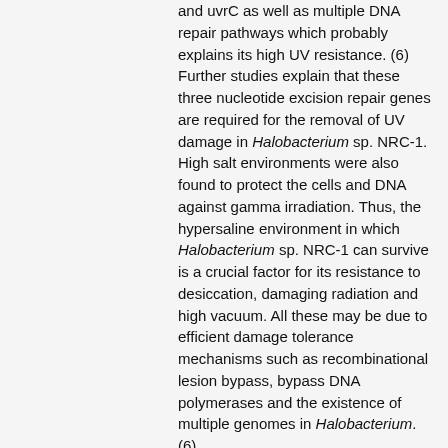and uvrC as well as multiple DNA repair pathways which probably explains its high UV resistance. (6) Further studies explain that these three nucleotide excision repair genes are required for the removal of UV damage in Halobacterium sp. NRC-1. High salt environments were also found to protect the cells and DNA against gamma irradiation. Thus, the hypersaline environment in which Halobacterium sp. NRC-1 can survive is a crucial factor for its resistance to desiccation, damaging radiation and high vacuum. All these may be due to efficient damage tolerance mechanisms such as recombinational lesion bypass, bypass DNA polymerases and the existence of multiple genomes in Halobacterium. (6)
Halobacterium NRC-1 can obtain energy by aerobic, anaerobic, or phototrophic use of the energy of light. This is done by using multiple pathways using organic molecules in their environment. Beause many haloarchaea can grow without the use of oxygen, they use instead dissimilatory nitrate reduction and